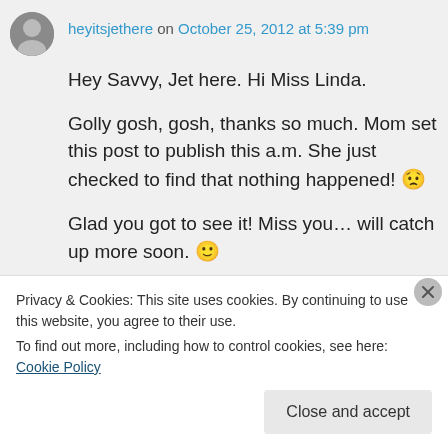heyitsjethere on October 25, 2012 at 5:39 pm
Hey Savvy, Jet here. Hi Miss Linda.

Golly gosh, gosh, thanks so much. Mom set this post to publish this a.m. She just checked to find that nothing happened! 😟

Glad you got to see it! Miss you… will catch up more soon. 🙂
↵ Reply
Privacy & Cookies: This site uses cookies. By continuing to use this website, you agree to their use.
To find out more, including how to control cookies, see here: Cookie Policy
Close and accept